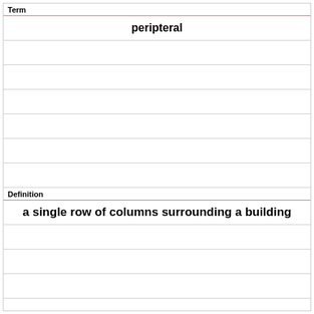Term
peripteral
Definition
a single row of columns surrounding a building